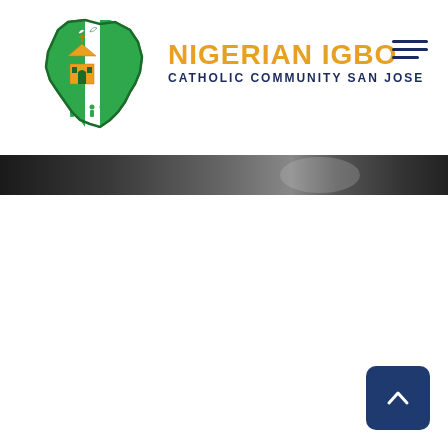[Figure (logo): Nigerian Igbo Catholic Community San Jose logo with Nigeria map silhouette in green and white with a church building, doves, and people figures inside]
NIGERIAN IGBO CATHOLIC COMMUNITY SAN JOSE
[Figure (photo): Partial banner photo strip showing dark background, appears to be an outdoor scene]
[Figure (other): Scroll to top button - dark blue rounded square with upward chevron arrow]